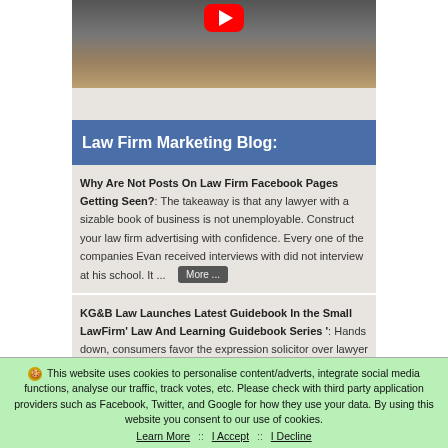[Figure (photo): Video thumbnail showing people in suits at a meeting table, with a YouTube play button overlay]
Law Firm Marketing Blog:
Why Are Not Posts On Law Firm Facebook Pages Getting Seen?: The takeaway is that any lawyer with a sizable book of business is not unemployable. Construct your law firm advertising with confidence. Every one of the companies Evan received interviews with did not interview at his school. It ... More ...
KG&B Law Launches Latest Guidebook In the Small LawFirm' Law And Learning Guidebook Series ': Hands down, consumers favor the expression solicitor over lawyer when they are seeking. Not all recent law school graduates immediately secure a job requiring a
🍪 This website uses cookies to personalise content/adverts, integrate social media functions, analyse our traffic, track votes, etc. Please check with third party application providers such as Facebook, Twitter, and Google for how they use your data. By using this website you consent to our use of cookies. Learn More :: I Accept :: I Decline